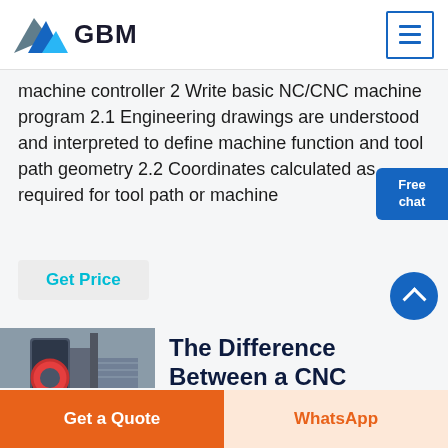GBM
machine controller 2 Write basic NC/CNC machine program 2.1 Engineering drawings are understood and interpreted to define machine function and tool path geometry 2.2 Coordinates calculated as required for tool path or machine
Get Price
[Figure (photo): Industrial CNC or milling machine equipment photo]
The Difference Between a CNC
Get a Quote | WhatsApp